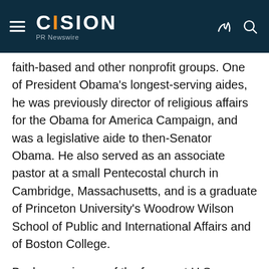CISION PR Newswire
faith-based and other nonprofit groups. One of President Obama's longest-serving aides, he was previously director of religious affairs for the Obama for America Campaign, and was a legislative aide to then-Senator Obama. He also served as an associate pastor at a small Pentecostal church in Cambridge, Massachusetts, and is a graduate of Princeton University's Woodrow Wilson School of Public and International Affairs and of Boston College.
Beckmann is one of the foremost U.S. advocates for hungry and poor people. A Lutheran pastor, he has been president of Bread for the World since 1991,